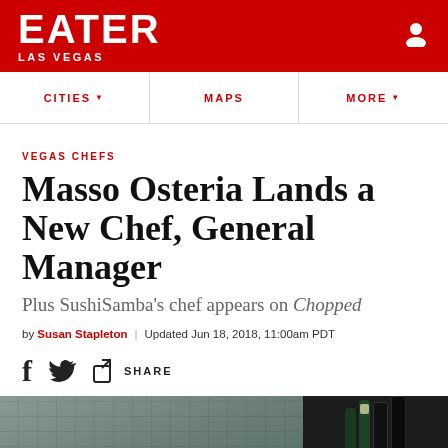EATER LAS VEGAS
CITIES  MAPS  MORE
VEGAS CHEFS
Masso Osteria Lands a New Chef, General Manager
Plus SushiSamba's chef appears on Chopped
by Susan Stapleton | Updated Jun 18, 2018, 11:00am PDT
[Figure (photo): Photo showing the interior of the restaurant on the left and champagne bottles on the right]